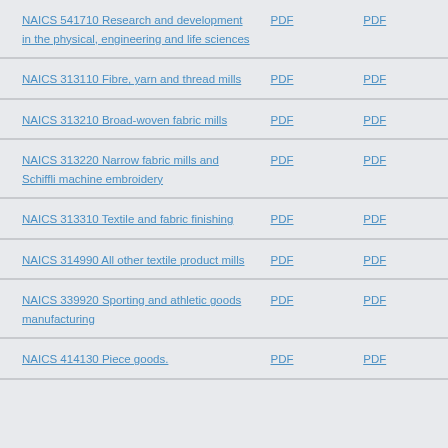NAICS 541710 Research and development in the physical, engineering and life sciences | PDF | PDF
NAICS 313110 Fibre, yarn and thread mills | PDF | PDF
NAICS 313210 Broad-woven fabric mills | PDF | PDF
NAICS 313220 Narrow fabric mills and Schiffli machine embroidery | PDF | PDF
NAICS 313310 Textile and fabric finishing | PDF | PDF
NAICS 314990 All other textile product mills | PDF | PDF
NAICS 339920 Sporting and athletic goods manufacturing | PDF | PDF
NAICS 414130 Piece goods. | PDF | PDF